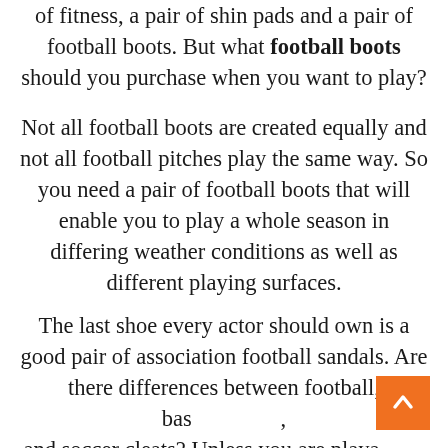of fitness, a pair of shin pads and a pair of football boots. But what football boots should you purchase when you want to play?
Not all football boots are created equally and not all football pitches play the same way. So you need a pair of football boots that will enable you to play a whole season in differing weather conditions as well as different playing surfaces.
The last shoe every actor should own is a good pair of association football sandals. Are there differences between football, baseball, and soccer cleats? Unless you are playacting in mud there really is no rationality to be